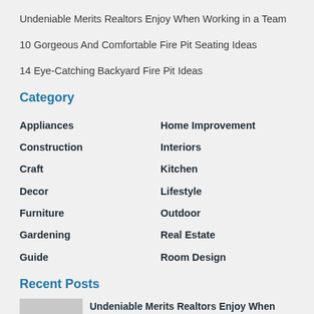Undeniable Merits Realtors Enjoy When Working in a Team
10 Gorgeous And Comfortable Fire Pit Seating Ideas
14 Eye-Catching Backyard Fire Pit Ideas
Category
Appliances
Home Improvement
Construction
Interiors
Craft
Kitchen
Decor
Lifestyle
Furniture
Outdoor
Gardening
Real Estate
Guide
Room Design
Recent Posts
Undeniable Merits Realtors Enjoy When Working in a Team